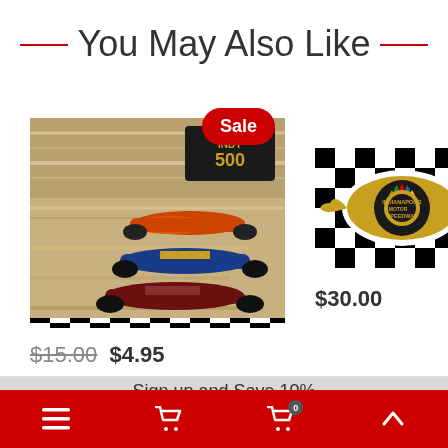You May Also Like
[Figure (photo): Indy 500 vintage racing cars poster with Sale badge]
[Figure (photo): Indianapolis Motor Speedway logo on checkered flag background]
$15.00 $4.95
$30.00
Sign up and Save 10%
Enter your email address
SUBSCRIBE
Navigation bar with menu, cart, cart with 0 badge, and up arrow